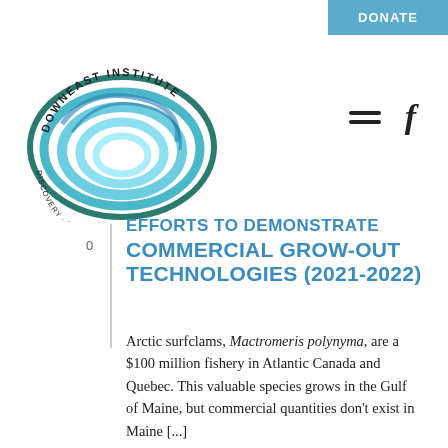DONATE
[Figure (logo): Downeast Institute circular logo with swirling blue/teal waves and text 'Downeast Institute Discovery - Education - Innovation']
EFFORTS TO DEMONSTRATE COMMERCIAL GROW-OUT TECHNOLOGIES (2021-2022)
Arctic surfclams, Mactromeris polynyma, are a $100 million fishery in Atlantic Canada and Quebec. This valuable species grows in the Gulf of Maine, but commercial quantities don't exist in Maine [...]